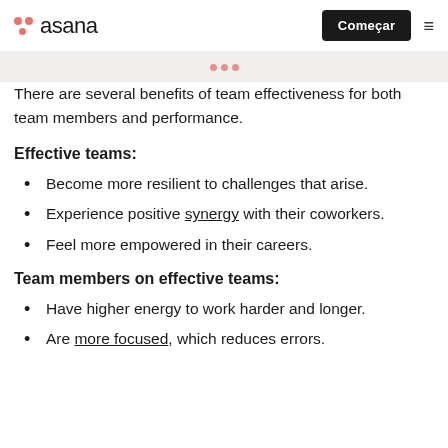asana  Começar
There are several benefits of team effectiveness for both team members and performance.
Effective teams:
Become more resilient to challenges that arise.
Experience positive synergy with their coworkers.
Feel more empowered in their careers.
Team members on effective teams:
Have higher energy to work harder and longer.
Are more focused, which reduces errors.